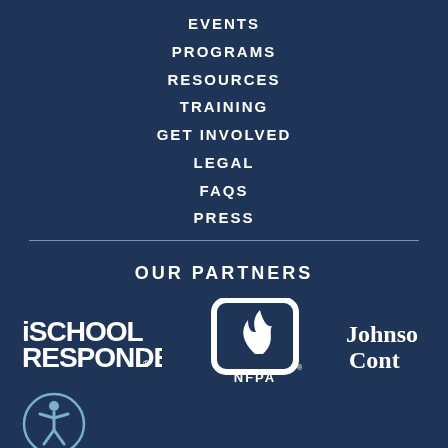EVENTS
PROGRAMS
RESOURCES
TRAINING
GET INVOLVED
LEGAL
FAQS
PRESS
OUR PARTNERS
[Figure (logo): iSCHOOL RESPONDER logo in white text]
[Figure (logo): NFPA logo - flame inside rounded square with NFPA text below]
[Figure (logo): Johnson Controls logo (partially visible) in white text]